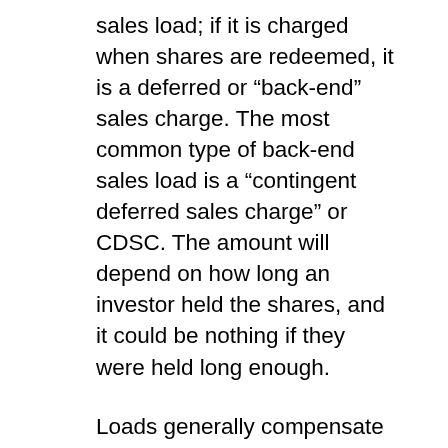sales load; if it is charged when shares are redeemed, it is a deferred or “back-end” sales charge. The most common type of back-end sales load is a “contingent deferred sales charge” or CDSC. The amount will depend on how long an investor held the shares, and it could be nothing if they were held long enough.
Loads generally compensate brokers and/or salespeople for selling you a fund. For example, a sales load might help compensate a financial professional who spends time with you at the beginning of your relationship, learning about your objectives and helping with your investment program. A sales load could also compensate a broker for keeping in touch with you and answering any questions you have. This communication can be particularly handy for busy people whose idea of investing is doing as little as they